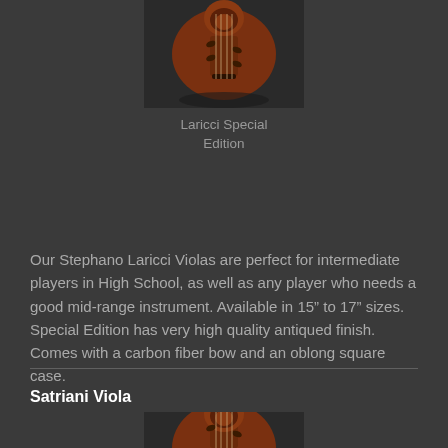[Figure (photo): Close-up photo of the scroll/pegbox of a viola, reddish-brown finish, on dark background]
Laricci Special Edition
Our Stephano Laricci Violas are perfect for intermediate players in High School, as well as any player who needs a good mid-range instrument. Available in 15” to 17” sizes. Special Edition has very high quality antiqued finish. Comes with a carbon fiber bow and an oblong square case.
Satriani Viola
[Figure (photo): Close-up photo of the scroll/pegbox of a Satriani viola, reddish-brown finish, on dark background]